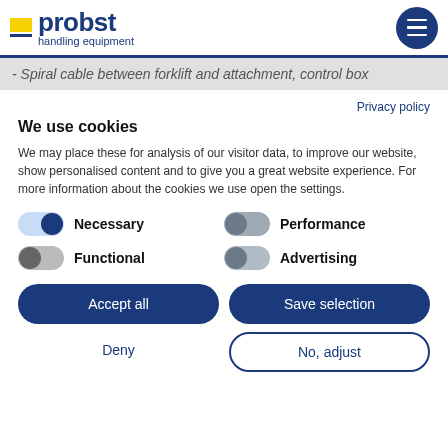probst handling equipment
- Spiral cable between forklift and attachment, control box
Privacy policy
We use cookies
We may place these for analysis of our visitor data, to improve our website, show personalised content and to give you a great website experience. For more information about the cookies we use open the settings.
Necessary
Performance
Functional
Advertising
Accept all
Save selection
Deny
No, adjust